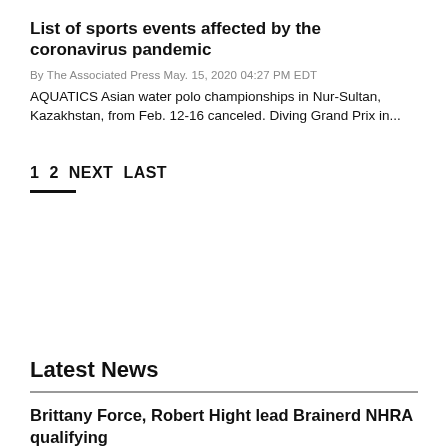List of sports events affected by the coronavirus pandemic
By The Associated Press May. 15, 2020 04:27 PM EDT
AQUATICS Asian water polo championships in Nur-Sultan, Kazakhstan, from Feb. 12-16 canceled. Diving Grand Prix in...
1
2
NEXT
LAST
Latest News
Brittany Force, Robert Hight lead Brainerd NHRA qualifying